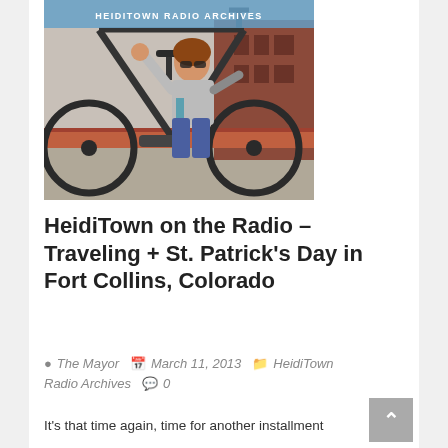[Figure (photo): Person sitting on a large decorative metal bicycle sculpture on a street corner, giving a thumbs up, wearing sunglasses, gray top and blue jeans. Red brick buildings visible in background. Banner overlay reads HEIDITOWN RADIO ARCHIVES.]
HeidiTown on the Radio – Traveling + St. Patrick's Day in Fort Collins, Colorado
The Mayor   March 11, 2013   HeidiTown Radio Archives   0
It's that time again, time for another installment